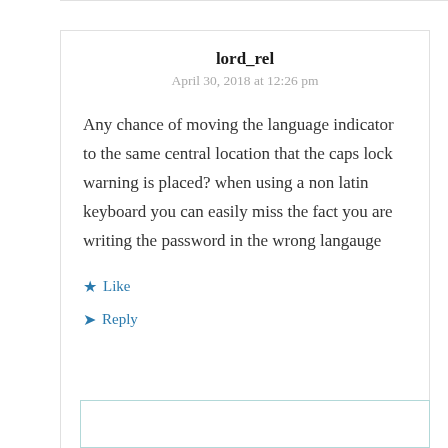lord_rel
April 30, 2018 at 12:26 pm
Any chance of moving the language indicator to the same central location that the caps lock warning is placed? when using a non latin keyboard you can easily miss the fact you are writing the password in the wrong langauge
Like
Reply